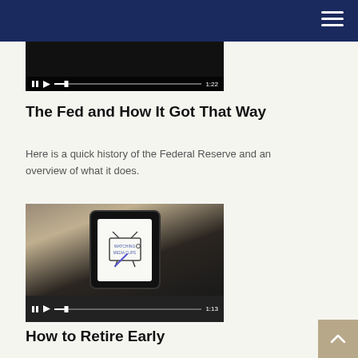[Figure (screenshot): Video player thumbnail showing dark background with playback controls and time 1:22]
The Fed and How It Got That Way
Here is a quick history of the Federal Reserve and an overview of what it does.
[Figure (screenshot): Video player showing a hand holding a smartphone displaying a hand-drawn TV illustration, with playback controls and time 1:13]
How to Retire Early
Retiring early sounds like a dream come true, but it's important to take a look at the cold, hard facts.